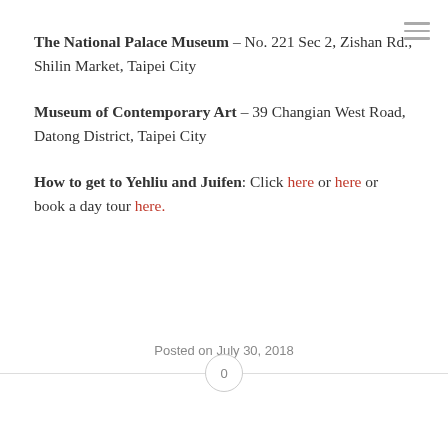The National Palace Museum – No. 221 Sec 2, Zishan Rd., Shilin Market, Taipei City
Museum of Contemporary Art – 39 Changian West Road, Datong District, Taipei City
How to get to Yehliu and Juifen: Click here or here or book a day tour here.
Posted on July 30, 2018